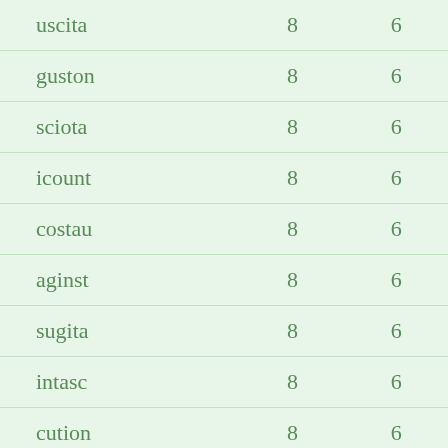| uscita | 8 | 6 |
| guston | 8 | 6 |
| sciota | 8 | 6 |
| icount | 8 | 6 |
| costau | 8 | 6 |
| aginst | 8 | 6 |
| sugita | 8 | 6 |
| intasc | 8 | 6 |
| cution | 8 | 6 |
| sigact | 8 | 6 |